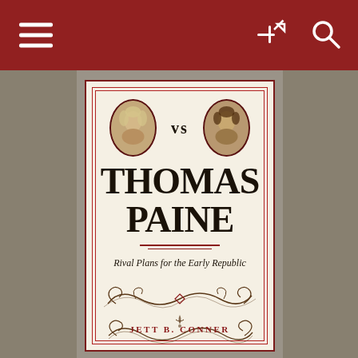[Figure (screenshot): Website screenshot showing a red navigation bar at the top with hamburger menu, share icon, and search icon, followed by a book cover image below. The book cover shows two portrait medallions with 'VS' between them, a large title 'THOMAS PAINE', subtitle 'Rival Plans for the Early Republic', decorative scroll ornaments, and author name 'JETT B. CONNER' in red letters on an aged cream/ivory background with red decorative border.]